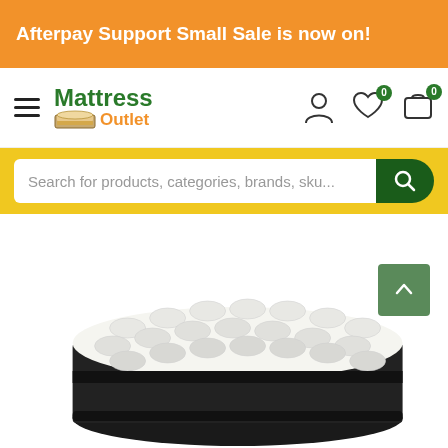Afterpay Support Small Sale is now on!
[Figure (logo): Mattress Outlet logo with hamburger menu, user icon, wishlist icon with badge 0, and cart icon with badge 0]
Search for products, categories, brands, sku...
[Figure (photo): A white and dark-bordered mattress shown in perspective/3D angle view]